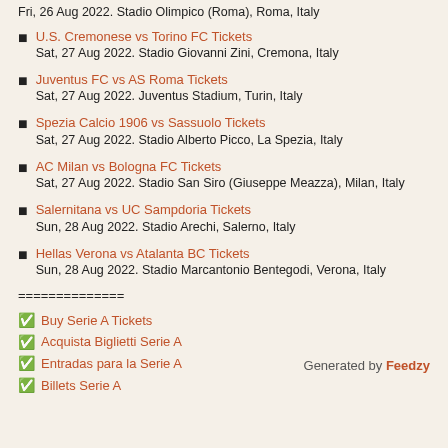Fri, 26 Aug 2022. Stadio Olimpico (Roma), Roma, Italy
U.S. Cremonese vs Torino FC Tickets
Sat, 27 Aug 2022. Stadio Giovanni Zini, Cremona, Italy
Juventus FC vs AS Roma Tickets
Sat, 27 Aug 2022. Juventus Stadium, Turin, Italy
Spezia Calcio 1906 vs Sassuolo Tickets
Sat, 27 Aug 2022. Stadio Alberto Picco, La Spezia, Italy
AC Milan vs Bologna FC Tickets
Sat, 27 Aug 2022. Stadio San Siro (Giuseppe Meazza), Milan, Italy
Salernitana vs UC Sampdoria Tickets
Sun, 28 Aug 2022. Stadio Arechi, Salerno, Italy
Hellas Verona vs Atalanta BC Tickets
Sun, 28 Aug 2022. Stadio Marcantonio Bentegodi, Verona, Italy
==============
✅ Buy Serie A Tickets
✅ Acquista Biglietti Serie A
✅ Entradas para la Serie A
✅ Billets Serie A
Generated by Feedzy